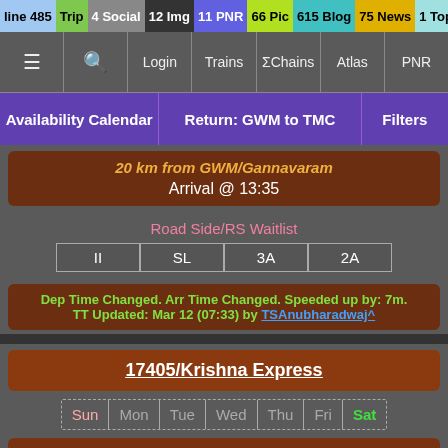line 485 Trip | 4 Social | 12 Img | 11 PNR | 66 Pic | 615 Blog | 75 News | 1 Topic
≡  🔍  Login  Trains  ΣChains  Atlas  PNR
Availability Calendar | Return: GWM to TMC | Filters
20 km from GWM/Gannavaram
Arrival @ 13:35
Road Side/RS Waitlist
II  SL  3A  2A
Dep Time Changed. Arr Time Changed. Speeded up by: 7m.
TT Updated: Mar 12 (07:33) by TSAnubharadwaj^
17405/Krishna Express
Sun Mon Tue Wed Thu Fri Sat
Travel Time: 5h 5m  14 halts  Distance: 255 km
NLR/Nellore
17 km from TMC/Talamanchi
Scroll to Top